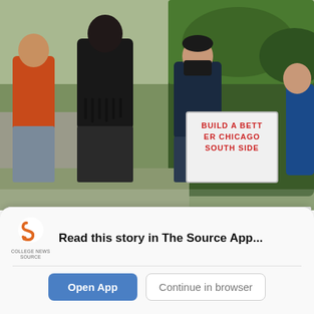[Figure (photo): Outdoor photo showing several people standing, including a person in a black leather jacket with fringe (back to camera), a person in an orange/red jacket, a person in a dark jacket wearing a face mask (Hang Wu), and a partial figure in blue on the far right. There is a white protest sign visible with red text reading 'BUILD A BETTER CHICAGO SOUTH SIDE'. Background shows green hedges and a pathway.]
Hang Wu, a Ph.D. student in the Department of Cinema and Media Studies, explained her signs to passersby.
Other rally speakers said that both long-term and short-term measures are needed. "I heard many of you
Read this story in The Source App...
Open App
Continue in browser